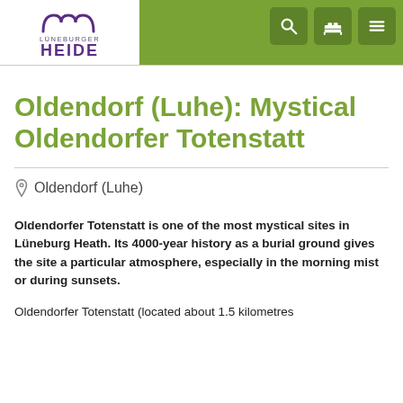Lüneburger Heide — navigation header with logo and icons
Oldendorf (Luhe): Mystical Oldendorfer Totenstatt
📍 Oldendorf (Luhe)
Oldendorfer Totenstatt is one of the most mystical sites in Lüneburg Heath. Its 4000-year history as a burial ground gives the site a particular atmosphere, especially in the morning mist or during sunsets.
Oldendorfer Totenstatt (located about 1.5 kilometres